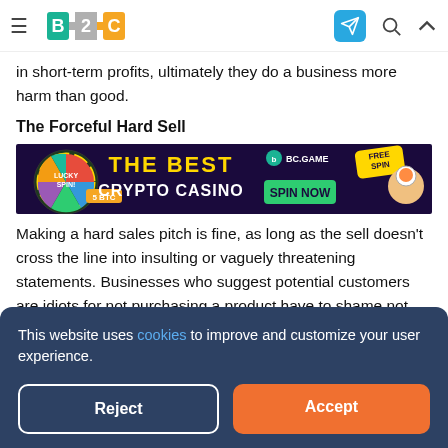B2C — navigation bar with hamburger menu, logo, telegram icon, search, and up arrow
in short-term profits, ultimately they do a business more harm than good.
The Forceful Hard Sell
[Figure (illustration): BC.GAME crypto casino advertisement banner — Lucky Spin wheel showing 5 BTC, text 'THE BEST CRYPTO CASINO', 'SPIN NOW' green button, 'FREE SPIN' badge, astronaut character]
Making a hard sales pitch is fine, as long as the sell doesn't cross the line into insulting or vaguely threatening statements. Businesses who suggest potential customers are idiots for not purchasing a product have to shame not only
This website uses cookies to improve and customize your user experience.
suggesting the customer will somehow suffer without the product. With a tl;dr hair for personal well-...